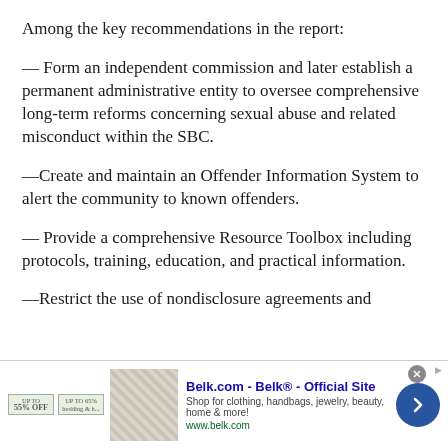Among the key recommendations in the report:
— Form an independent commission and later establish a permanent administrative entity to oversee comprehensive long-term reforms concerning sexual abuse and related misconduct within the SBC.
—Create and maintain an Offender Information System to alert the community to known offenders.
— Provide a comprehensive Resource Toolbox including protocols, training, education, and practical information.
—Restrict the use of nondisclosure agreements and
[Figure (other): Advertisement banner for Belk.com - Belk® - Official Site. Shows promotional badges for up to 55% off and up to 65% off bedding, a product image thumbnail, ad title, subtitle 'Shop for clothing, handbags, jewelry, beauty, home & more!', URL www.belk.com, and a blue circular arrow button.]